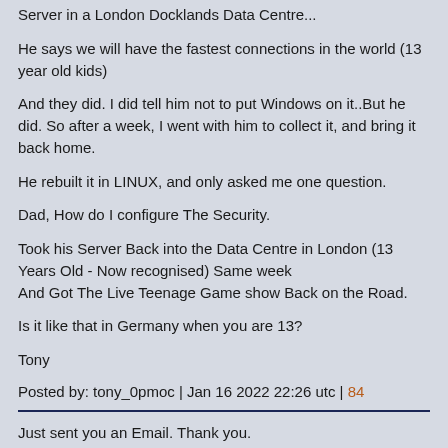Server in a London Docklands Data Centre...
He says we will have the fastest connections in the world (13 year old kids)
And they did. I did tell him not to put Windows on it..But he did. So after a week, I went with him to collect it, and bring it back home.
He rebuilt it in LINUX, and only asked me one question.
Dad, How do I configure The Security.
Took his Server Back into the Data Centre in London (13 Years Old - Now recognised) Same week
And Got The Live Teenage Game show Back on the Road.
Is it like that in Germany when you are 13?
Tony
Posted by: tony_0pmoc | Jan 16 2022 22:26 utc | 84
Just sent you an Email. Thank you.
Posted by: Cindy6 | Jan 18 2022 18:47 utc | 85
Respectfully, no thanks!